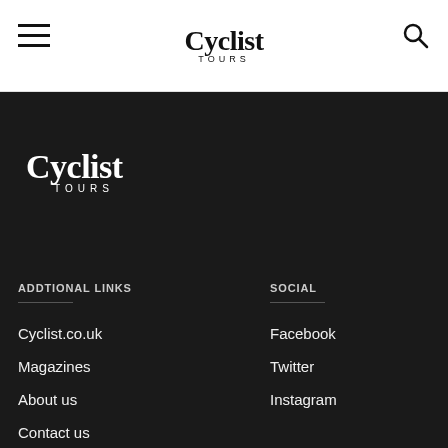Cyclist Tours navigation header
[Figure (logo): Cyclist Tours logo in black on white header]
[Figure (logo): Cyclist Tours logo in white on dark footer]
ADDTIONAL LINKS
Cyclist.co.uk
Magazines
About us
Contact us
SOCIAL
Facebook
Twitter
Instagram